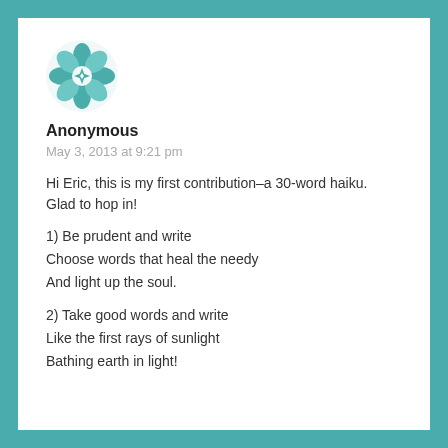[Figure (logo): Teal geometric mandala/flower pattern avatar icon]
Anonymous
May 3, 2013 at 9:21 pm
Hi Eric, this is my first contribution–a 30-word haiku. Glad to hop in!
1) Be prudent and write
Choose words that heal the needy
And light up the soul.
2) Take good words and write
Like the first rays of sunlight
Bathing earth in light!